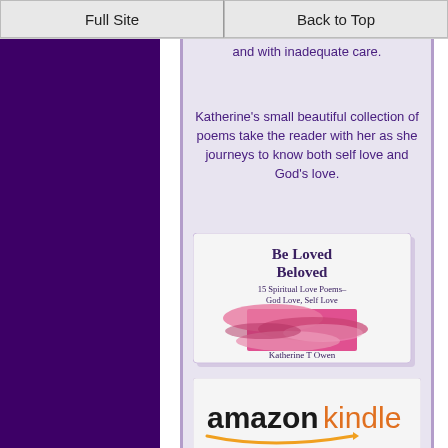Full Site | Back to Top
and with inadequate care.
Katherine's small beautiful collection of poems take the reader with her as she journeys to know both self love and God's love.
[Figure (illustration): Book cover for 'Be Loved Beloved - 15 Spiritual Love Poems – God Love, Self Love' by Katherine T Owen, showing pink and purple wave design]
[Figure (logo): Amazon Kindle logo with swoosh arrow and text 'Click to visit your nearest Amazon Hopefully! :)']